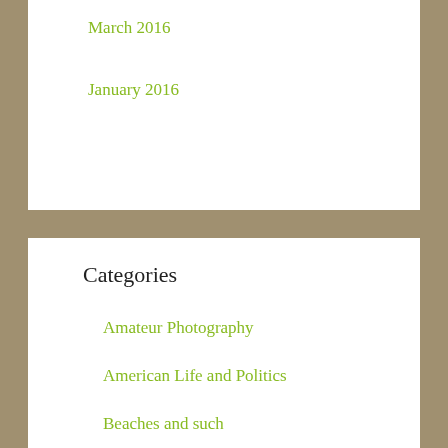March 2016
January 2016
Categories
Amateur Photography
American Life and Politics
Beaches and such
Beer
Blues and Other Music
Career and Working
Central Florida
Cooking and Baking